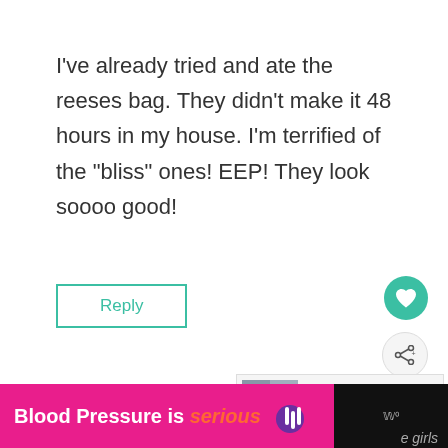I've already tried and ate the reeses bag. They didn't make it 48 hours in my house. I'm terrified of the "bliss" ones! EEP! They look soooo good!
Reply
WHAT'S NEXT → 17 Valentines for Kids Idea...
amanda says:
Blood Pressure is serious